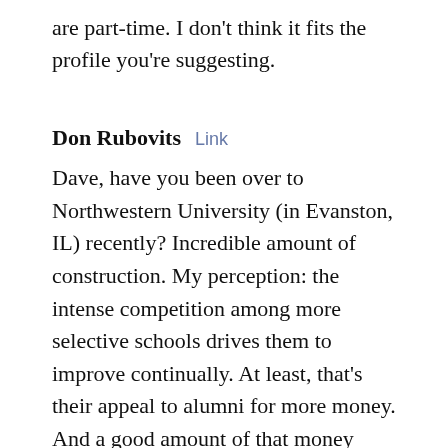are part-time. I don't think it fits the profile you're suggesting.
Don Rubovits  Link
Dave, have you been over to Northwestern University (in Evanston, IL) recently? Incredible amount of construction. My perception: the intense competition among more selective schools drives them to improve continually. At least, that's their appeal to alumni for more money. And a good amount of that money goes to funding scholarships.
steve  Link
Dave- While that has not been their demographic, it